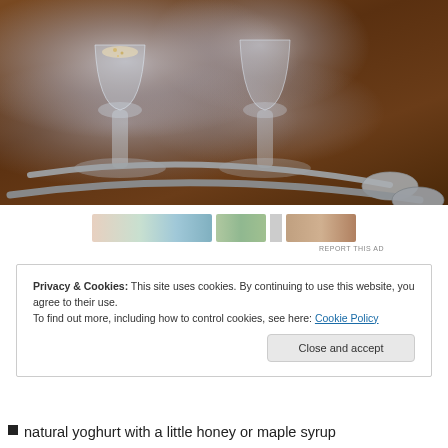[Figure (photo): Two glass dessert cups/goblets with food on a wooden table surface, with two silver spoons laid in front of them.]
[Figure (other): Advertisement banner with colorful segments.]
REPORT THIS AD
Privacy & Cookies: This site uses cookies. By continuing to use this website, you agree to their use.
To find out more, including how to control cookies, see here: Cookie Policy
Close and accept
natural yoghurt with a little honey or maple syrup